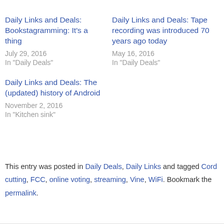Daily Links and Deals: Bookstagramming: It's a thing
July 29, 2016
In "Daily Deals"
Daily Links and Deals: Tape recording was introduced 70 years ago today
May 16, 2016
In "Daily Deals"
Daily Links and Deals: The (updated) history of Android
November 2, 2016
In "Kitchen sink"
This entry was posted in Daily Deals, Daily Links and tagged Cord cutting, FCC, online voting, streaming, Vine, WiFi. Bookmark the permalink.